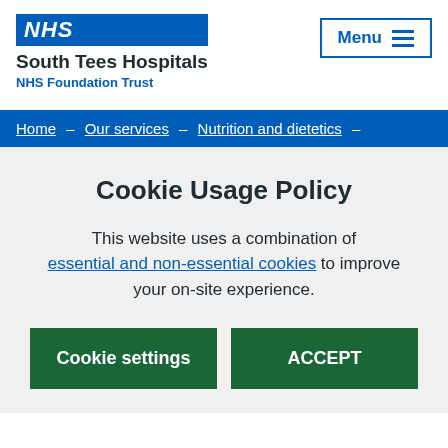NHS South Tees Hospitals NHS Foundation Trust
Menu
Home – Our services – Nutrition and dietetics –
Cookie Usage Policy
This website uses a combination of essential and non-essential cookies to improve your on-site experience.
Cookie settings
ACCEPT